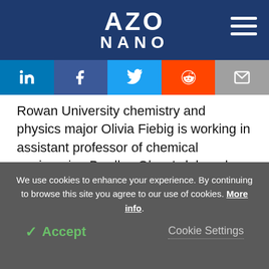AZO NANO
[Figure (infographic): Social media sharing icons bar: LinkedIn, Facebook, Twitter, Reddit, Email]
Rowan University chemistry and physics major Olivia Fiebig is working in assistant professor of chemical engineering Bradley Olsen's lab on how the microscopic structure of elastin-like polypeptide sequences in block copolymers affects the macroscopic properties of thermoresponsive protein hydrogels. Her project will determine the effect of
We use cookies to enhance your experience. By continuing to browse this site you agree to our use of cookies. More info.
✓ Accept
Cookie Settings